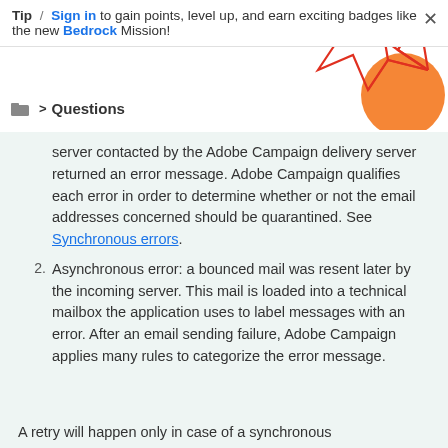Tip / Sign in to gain points, level up, and earn exciting badges like the new Bedrock Mission!
Questions
server contacted by the Adobe Campaign delivery server returned an error message. Adobe Campaign qualifies each error in order to determine whether or not the email addresses concerned should be quarantined. See Synchronous errors.
2. Asynchronous error: a bounced mail was resent later by the incoming server. This mail is loaded into a technical mailbox the application uses to label messages with an error. After an email sending failure, Adobe Campaign applies many rules to categorize the error message.
A retry will happen only in case of a synchronous